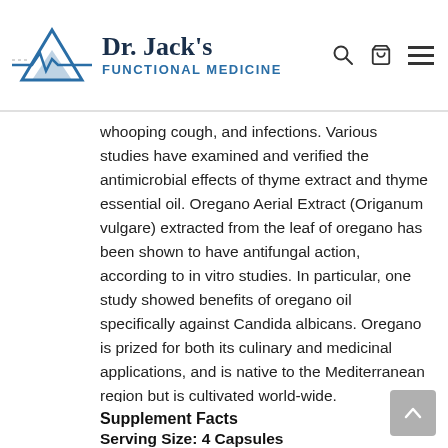Dr. Jack's FUNCTIONAL MEDICINE
whooping cough, and infections. Various studies have examined and verified the antimicrobial effects of thyme extract and thyme essential oil. Oregano Aerial Extract (Origanum vulgare) extracted from the leaf of oregano has been shown to have antifungal action, according to in vitro studies. In particular, one study showed benefits of oregano oil specifically against Candida albicans. Oregano is prized for both its culinary and medicinal applications, and is native to the Mediterranean region but is cultivated world-wide.
Supplement Facts
Serving Size: 4 Capsules